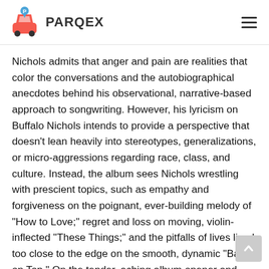PARQEX
Nichols admits that anger and pain are realities that color the conversations and the autobiographical anecdotes behind his observational, narrative-based approach to songwriting. However, his lyricism on Buffalo Nichols intends to provide a perspective that doesn’t lean heavily into stereotypes, generalizations, or micro-aggressions regarding race, class, and culture. Instead, the album sees Nichols wrestling with prescient topics, such as empathy and forgiveness on the poignant, ever-building melody of “How to Love;” regret and loss on moving, violin-inflected “These Things;” and the pitfalls of lives lived too close to the edge on the smooth, dynamic “Back on Top.” On the tender, aching album opener and lead single “Lost & Lonesome,” he gives listeners what he describes as a “glimpse into the mind of that traveler